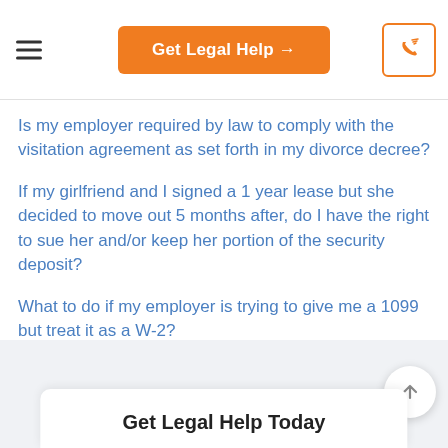Get Legal Help →
Is my employer required by law to comply with the visitation agreement as set forth in my divorce decree?
If my girlfriend and I signed a 1 year lease but she decided to move out 5 months after, do I have the right to sue her and/or keep her portion of the security deposit?
What to do if my employer is trying to give me a 1099 but treat it as a W-2?
Get Legal Help Today